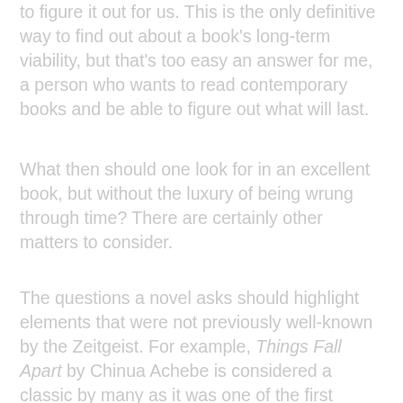to figure it out for us. This is the only definitive way to find out about a book's long-term viability, but that's too easy an answer for me, a person who wants to read contemporary books and be able to figure out what will last.
What then should one look for in an excellent book, but without the luxury of being wrung through time? There are certainly other matters to consider.
The questions a novel asks should highlight elements that were not previously well-known by the Zeitgeist. For example, Things Fall Apart by Chinua Achebe is considered a classic by many as it was one of the first retorts from Africa to the otherwise Eurocentric literature concerned with the African continent. Representing the voi...